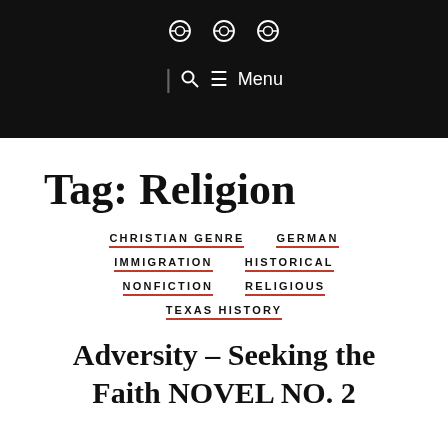⊙ ⊙ ⊙  |  🔍 ☰ Menu
Tag: Religion
CHRISTIAN GENRE
GERMAN
IMMIGRATION
HISTORICAL
NONFICTION
RELIGIOUS
TEXAS HISTORY
Adversity – Seeking the Faith NOVEL NO. 2